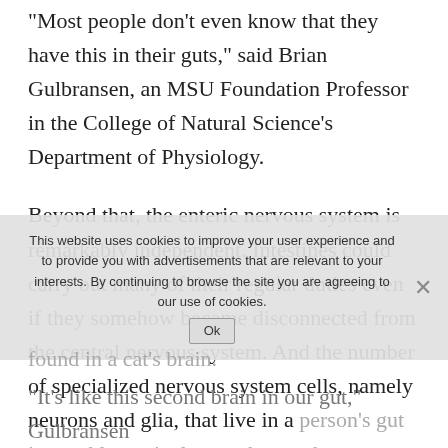“Most people don’t even know that they have this in their guts,” said Brian Gulbransen, an MSU Foundation Professor in the College of Natural Science’s Department of Physiology.
Beyond that, the enteric nervous system is remarkably independent. Intestines could carry out many of their regular duties even if they somehow became disconnected from the central nervous system. And the number of specialized nervous system cells, namely neurons and glia, that live in a person’s gut is roughly equivalent to the number found in a cat’s brain.
“It’s like this second brain in our gut,” Gulbransen said. “The enteric nervous system performs a number of essential functions and it’s